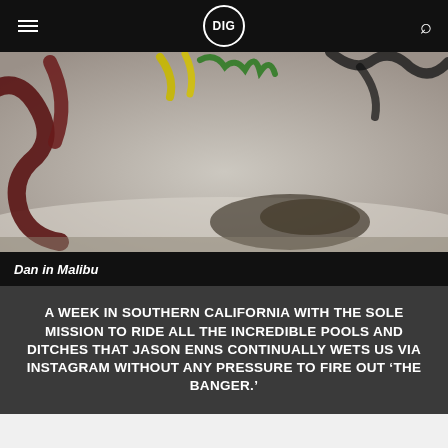DIG
[Figure (photo): Close-up photo of a concrete skate pool/ditch bowl with graffiti on the curved walls and dirt/debris staining near the bottom transition]
Dan in Malibu
A WEEK IN SOUTHERN CALIFORNIA WITH THE SOLE MISSION TO RIDE ALL THE INCREDIBLE POOLS AND DITCHES THAT JASON ENNS CONTINUALLY WETS US VIA INSTAGRAM WITHOUT ANY PRESSURE TO FIRE OUT ‘THE BANGER.’
[Figure (photo): Partial view of a second photo at bottom of page, appears to be another skate location]